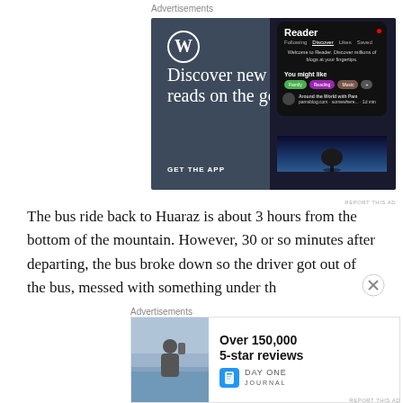Advertisements
[Figure (screenshot): WordPress app advertisement showing 'Discover new reads on the go.' with a phone mockup displaying the Reader feature. Includes GET THE APP call to action.]
REPORT THIS AD
The bus ride back to Huaraz is about 3 hours from the bottom of the mountain. However, 30 or so minutes after departing, the bus broke down so the driver got out of the bus, messed with something under th
Advertisements
[Figure (screenshot): Day One Journal advertisement showing 'Over 150,000 5-star reviews' with the Day One Journal logo.]
REPORT THIS AD